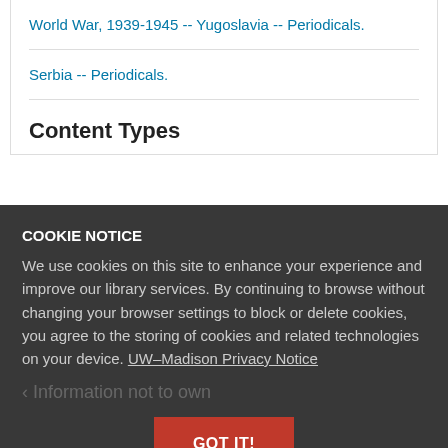World War, 1939-1945 -- Yugoslavia -- Periodicals.
Serbia -- Periodicals.
Content Types
COOKIE NOTICE
We use cookies on this site to enhance your experience and improve our library services. By continuing to browse without changing your browser settings to block or delete cookies, you agree to the storing of cookies and related technologies on your device. UW–Madison Privacy Notice
GOT IT!